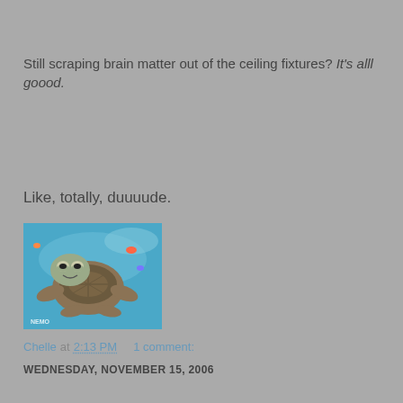Still scraping brain matter out of the ceiling fixtures? It's alll goood.
Like, totally, duuuude.
[Figure (photo): A cartoon sea turtle from Finding Nemo with a relaxed expression, underwater scene with fish in the background]
Chelle at 2:13 PM    1 comment:
WEDNESDAY, NOVEMBER 15, 2006